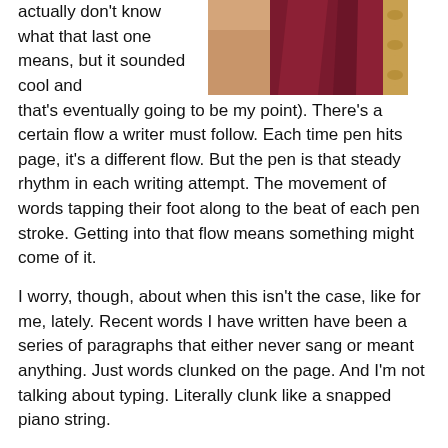actually don't know what that last one means, but it sounded cool and
[Figure (photo): Close-up photo of a person wearing a dark red/maroon draped fabric garment, with blonde braided hair visible on the right side.]
that's eventually going to be my point). There's a certain flow a writer must follow. Each time pen hits page, it's a different flow. But the pen is that steady rhythm in each writing attempt. The movement of words tapping their foot along to the beat of each pen stroke. Getting into that flow means something might come of it.
I worry, though, about when this isn't the case, like for me, lately. Recent words I have written have been a series of paragraphs that either never sang or meant anything. Just words clunked on the page. And I'm not talking about typing. Literally clunk like a snapped piano string.